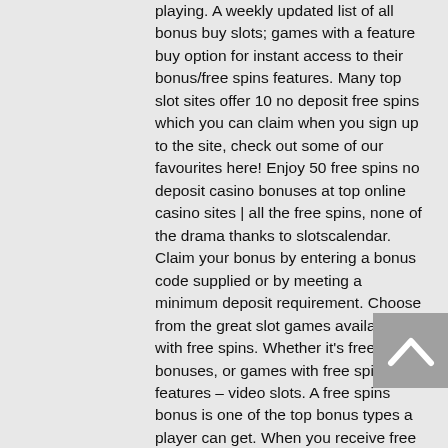playing. A weekly updated list of all bonus buy slots; games with a feature buy option for instant access to their bonus/free spins features. Many top slot sites offer 10 no deposit free spins which you can claim when you sign up to the site, check out some of our favourites here! Enjoy 50 free spins no deposit casino bonuses at top online casino sites | all the free spins, none of the drama thanks to slotscalendar. Claim your bonus by entering a bonus code supplied or by meeting a minimum deposit requirement. Choose from the great slot games available with free spins. Whether it's free spins bonuses, or games with free spins features – video slots. A free spins bonus is one of the top bonus types a player can get. When you receive free spins, you spin the reels of an online slot machine without having to. Planet 7 casino · slots of vegas casino · comic play casino · highway casino · big dollar casino · avantgarde casino · pure 10 мин...